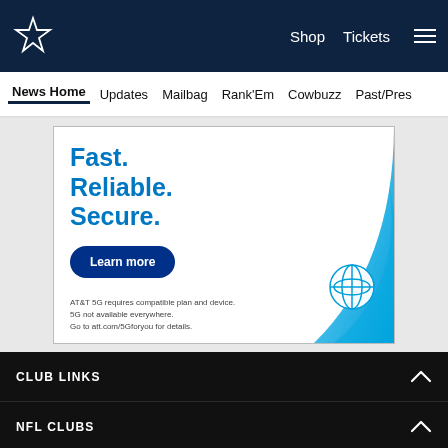Dallas Cowboys navigation header with logo, Shop, Tickets links and hamburger menu
News Home  Updates  Mailbag  Rank'Em  Cowbuzz  Past/Pres
[Figure (infographic): AT&T advertisement: Fast. Reliable. Secure. with Learn more button, AT&T 5G fine print, and blue swoosh graphic with AT&T globe logo]
CLUB LINKS
NFL CLUBS
[Figure (infographic): Social media share icons: Facebook, Twitter, Email, Link]